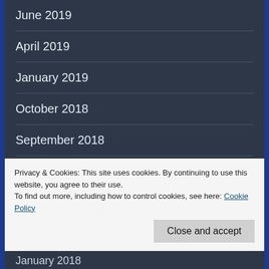June 2019
April 2019
January 2019
October 2018
September 2018
June 2018
May 2018
Privacy & Cookies: This site uses cookies. By continuing to use this website, you agree to their use.
To find out more, including how to control cookies, see here: Cookie Policy
Close and accept
January 2018